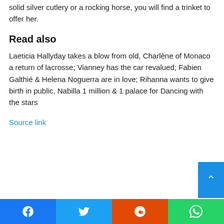solid silver cutlery or a rocking horse, you will find a trinket to offer her.
Read also
Laeticia Hallyday takes a blow from old, Charlène of Monaco a return of lacrosse; Vianney has the car revalued; Fabien Galthié & Helena Noguerra are in love; Rihanna wants to give birth in public, Nabilla 1 million & 1 palace for Dancing with the stars
Source link